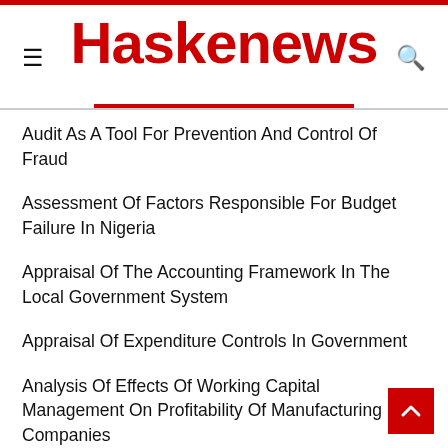Haskenews
Audit As A Tool For Prevention And Control Of Fraud
Assessment Of Factors Responsible For Budget Failure In Nigeria
Appraisal Of The Accounting Framework In The Local Government System
Appraisal Of Expenditure Controls In Government
Analysis Of Effects Of Working Capital Management On Profitability Of Manufacturing Companies
An Examination Of The Procedures For The Appointment And Removal Of External Auditor By Public Limited Liability Companies